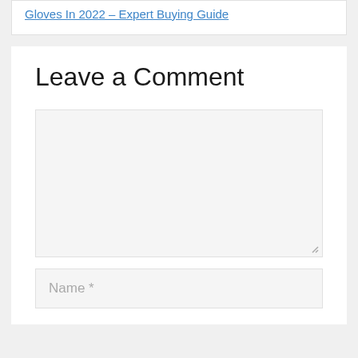Gloves In 2022 – Expert Buying Guide
Leave a Comment
Name *